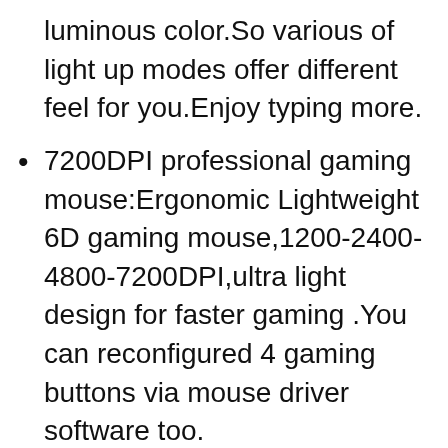luminous color.So various of light up modes offer different feel for you.Enjoy typing more.
7200DPI professional gaming mouse:Ergonomic Lightweight 6D gaming mouse,1200-2400-4800-7200DPI,ultra light design for faster gaming .You can reconfigured 4 gaming buttons via mouse driver software too.
60% percent mechanical feeling keyboard mouse bundle: Premium key cap structure, transparent characters water-resistant, and the